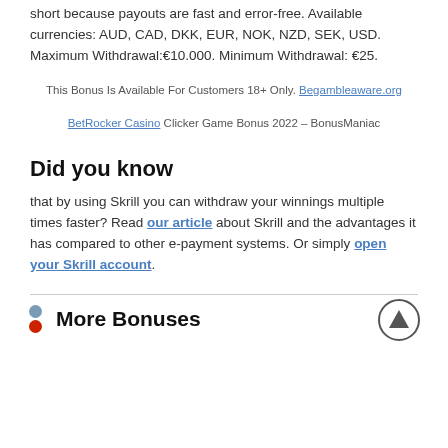short because payouts are fast and error-free. Available currencies: AUD, CAD, DKK, EUR, NOK, NZD, SEK, USD. Maximum Withdrawal:€10.000. Minimum Withdrawal: €25.
This Bonus Is Available For Customers 18+ Only. Begambleaware.org
BetRocker Casino Clicker Game Bonus 2022 – BonusManiac
Did you know
that by using Skrill you can withdraw your winnings multiple times faster? Read our article about Skrill and the advantages it has compared to other e-payment systems. Or simply open your Skrill account.
More Bonuses